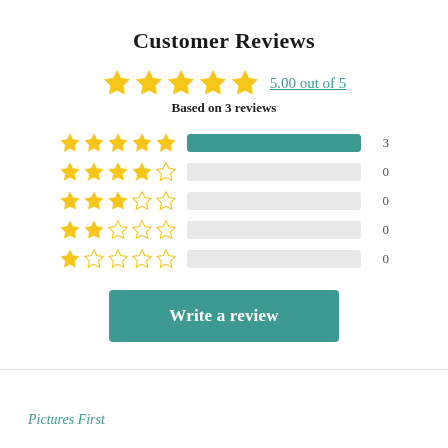Customer Reviews
5.00 out of 5
Based on 3 reviews
[Figure (bar-chart): Star rating distribution]
Write a review
Pictures First